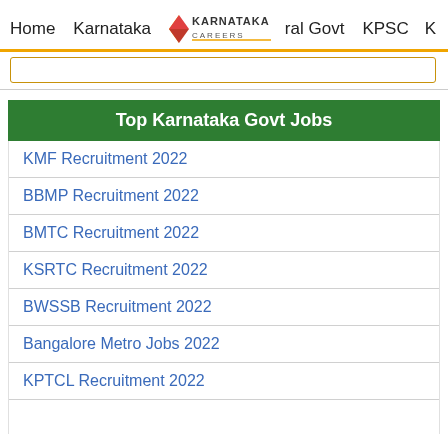Home | Karnataka | Karnataka Careers | ral Govt | KPSC | K
Top Karnataka Govt Jobs
KMF Recruitment 2022
BBMP Recruitment 2022
BMTC Recruitment 2022
KSRTC Recruitment 2022
BWSSB Recruitment 2022
Bangalore Metro Jobs 2022
KPTCL Recruitment 2022